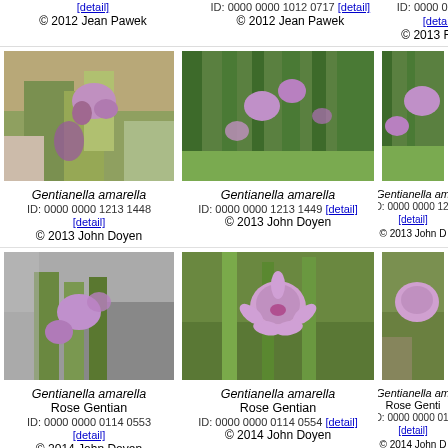[Figure (photo): Photo of Gentianella amarella flower, small purple bloom against rocky/sandy background]
Gentianella amarella
ID: 0000 0000 1213 1448
[detail]
© 2013 John Doyen
[Figure (photo): Photo of Gentianella amarella flowers among green grass stems]
Gentianella amarella
ID: 0000 0000 1213 1449 [detail]
© 2013 John Doyen
[Figure (photo): Partial photo of Gentianella amarella, purple flowers in green foliage (right column, cropped)]
Gentianella am...
ID: 0000 0000 121...
[detail]
© 2013 John D...
[Figure (photo): Photo of Gentianella amarella Rose Gentian, purple star-shaped flower among low green leaves and rocks]
Gentianella amarella
Rose Gentian
ID: 0000 0000 0114 0553
[detail]
© 2014 John Doyen
[Figure (photo): Photo of Gentianella amarella Rose Gentian, single purple star flower with green foliage]
Gentianella amarella
Rose Gentian
ID: 0000 0000 0114 0554 [detail]
© 2014 John Doyen
[Figure (photo): Partial photo of Gentianella amarella Rose Gentian (right column, cropped)]
Gentianella am...
Rose Genti...
ID: 0000 0000 011...
[detail]
© 2014 John D...